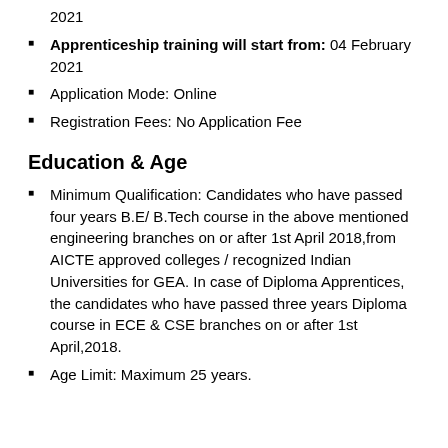2021
Apprenticeship training will start from: 04 February 2021
Application Mode: Online
Registration Fees: No Application Fee
Education & Age
Minimum Qualification: Candidates who have passed four years B.E/ B.Tech course in the above mentioned engineering branches on or after 1st April 2018,from AICTE approved colleges / recognized Indian Universities for GEA. In case of Diploma Apprentices, the candidates who have passed three years Diploma course in ECE & CSE branches on or after 1st April,2018.
Age Limit: Maximum 25 years.